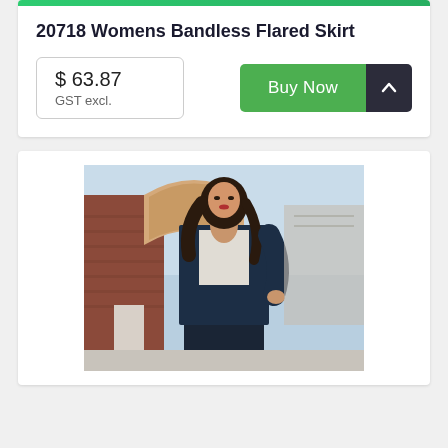20718 Womens Bandless Flared Skirt
$ 63.87
GST excl.
Buy Now
[Figure (photo): Fashion product photo of a woman wearing a navy blazer, white blouse and dark skirt standing in front of an ornate brick building with decorative architecture and blue sky.]